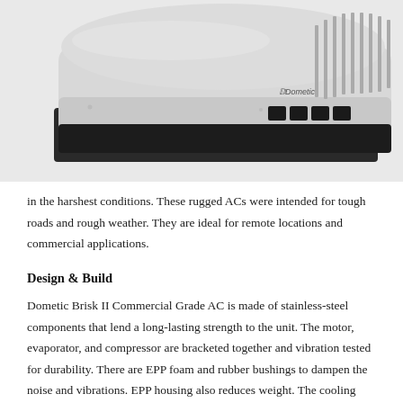[Figure (photo): Photo of a Dometic RV rooftop air conditioning unit, light grey color with ventilation slats on the right side and Dometic logo visible, viewed from a three-quarter angle showing its low-profile aerodynamic design with a black base.]
in the harshest conditions. These rugged ACs were intended for tough roads and rough weather. They are ideal for remote locations and commercial applications.
Design & Build
Dometic Brisk II Commercial Grade AC is made of stainless-steel components that lend a long-lasting strength to the unit. The motor, evaporator, and compressor are bracketed together and vibration tested for durability. There are EPP foam and rubber bushings to dampen the noise and vibrations. EPP housing also reduces weight. The cooling